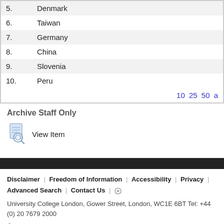5. Denmark
6. Taiwan
7. Germany
8. China
9. Slovenia
10. Peru
10 25 50 a
Archive Staff Only
View Item
Disclaimer | Freedom of Information | Accessibility | Privacy | Advanced Search | Contact Us | + University College London, Gower Street, London, WC1E 6BT Tel: +44 (0) 20 7679 2000 © UCL 1999–2022